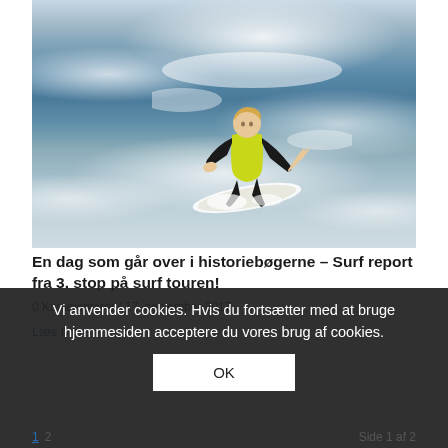[Figure (photo): A surfer wearing a yellow/neon vest and black wetsuit riding a large wave. Water spray surrounds the surfer who is crouched low on the surfboard.]
En dag som går over i historiebøgerne – Surf report fra 3. stop på surf touren!
0 Kommentarer / 17. september 2017
Læs mere >
Vi anvender cookies. Hvis du fortsætter med at bruge hjemmesiden acceptere du vores brug af cookies.
OK
1  2    Side 1 af 2